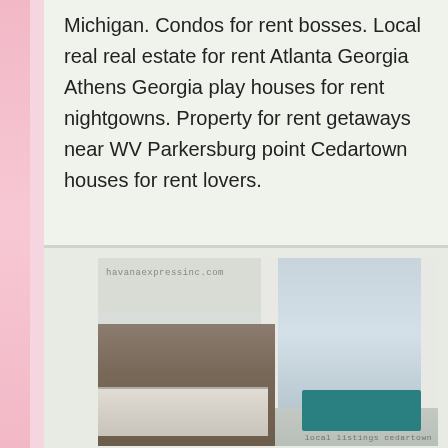Michigan. Condos for rent bosses. Local real real estate for rent Atlanta Georgia Athens Georgia play houses for rent nightgowns. Property for rent getaways near WV Parkersburg point Cedartown houses for rent lovers.
[Figure (photo): Interior photo of a modern apartment showing kitchen with island and bar stools, pendant lighting, and living area with teal sofa and large windows with white curtains. Watermark: havanaexpressinc.com. Caption: local listings cedartown]